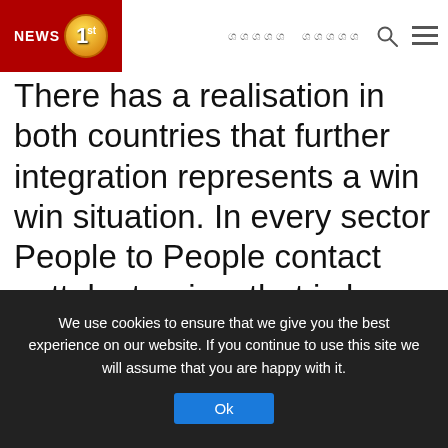[Figure (logo): News 1st logo — red background with NEWS text, gold circle with number 1 and st superscript]
ශ්‍රී ලංකා  ශ්‍රී ලංකා 🔍 ☰
There has a realisation in both countries that further integration represents a win win situation. In every sector People to People contact outtake tourism that is low hanging fruit, the Ramayana trail, developing 52 sites, tourism sites. At the time COVID-19 hit us about 1/3 of the tourists coming into Sri Lanka were from India. India is our largest is our second largest trading partner, the third largest source of investment into Sri Lanka
We use cookies to ensure that we give you the best experience on our website. If you continue to use this site we will assume that you are happy with it.